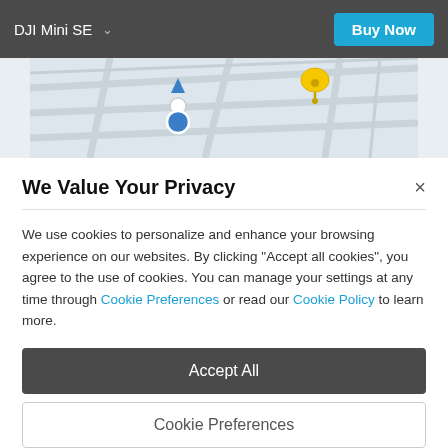DJI Mini SE  ∨  Buy Now
[Figure (screenshot): Blurred map view with street grid, a blue location pin with white circle and blue arrow indicator, and a yellow pin marker in the upper right area of the map.]
We Value Your Privacy
We use cookies to personalize and enhance your browsing experience on our websites. By clicking "Accept all cookies", you agree to the use of cookies. You can manage your settings at any time through Cookie Preferences or read our Cookie Policy to learn more.
Accept All
Cookie Preferences